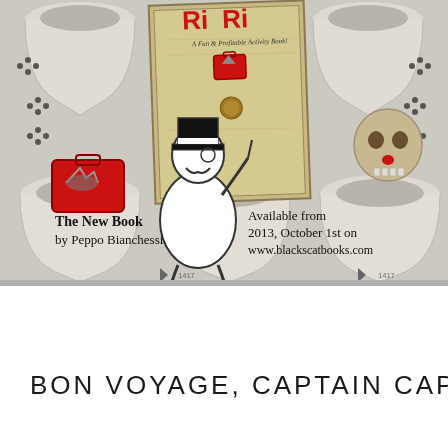[Figure (illustration): Promotional image for a book. Background shows rows of white urinal toilets. Center has a vintage-style book cover with red title text partially visible ('Ri... Ri...'). A Monopoly-man style cartoon character in black and white stands in front of the book. Left side has a red briefcase with a shark on it. Right side has a sandy-colored skull with a red clown nose. Text overlays read: 'The New Book by Peppo Bianchessi' and 'Available from 2013, October 1st on www.blackscatbooks.com']
BON VOYAGE, CAPTAIN CAP